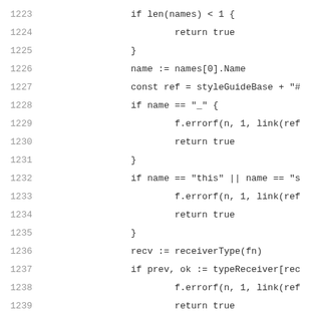[Figure (screenshot): Source code listing lines 1223-1243 in monospace font with line numbers on the left, showing Go code for a function checking receiver names.]